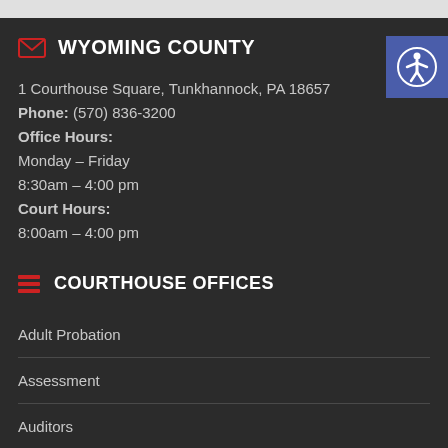WYOMING COUNTY
1 Courthouse Square, Tunkhannock, PA 18657
Phone: (570) 836-3200
Office Hours:
Monday – Friday
8:30am – 4:00 pm
Court Hours:
8:00am – 4:00 pm
COURTHOUSE OFFICES
Adult Probation
Assessment
Auditors